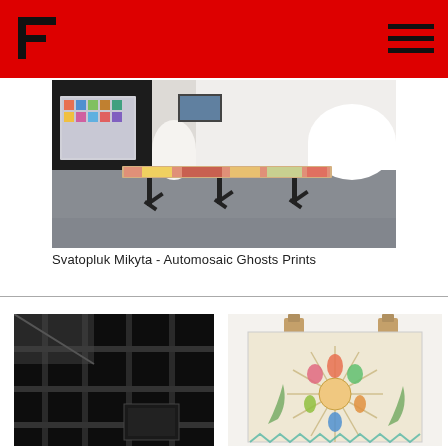F (logo) | hamburger menu
[Figure (photo): Gallery interior showing a long table with colorful printed surface on trestle legs in the center, artwork panels on the left dark wall, and an arched white wall on the right]
Svatopluk Mikyta - Automosaic Ghosts Prints
[Figure (photo): Close-up of black metal grid/shelving structure against dark background]
[Figure (photo): Artwork print clipped to wall with binder clips, showing decorative illustration with radiating lines and colorful figures on warm background]